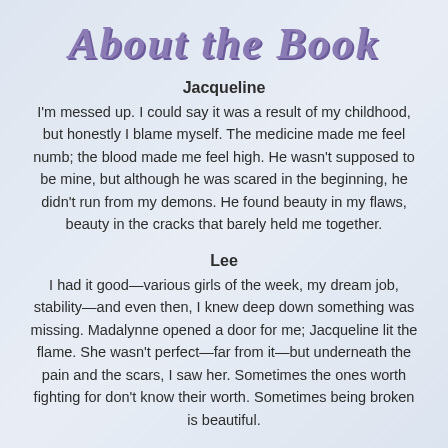About the Book
Jacqueline
I'm messed up. I could say it was a result of my childhood, but honestly I blame myself. The medicine made me feel numb; the blood made me feel high. He wasn't supposed to be mine, but although he was scared in the beginning, he didn't run from my demons. He found beauty in my flaws, beauty in the cracks that barely held me together.
Lee
I had it good—various girls of the week, my dream job, stability—and even then, I knew deep down something was missing. Madalynne opened a door for me; Jacqueline lit the flame. She wasn't perfect—far from it—but underneath the pain and the scars, I saw her. Sometimes the ones worth fighting for don't know their worth. Sometimes being broken is beautiful.